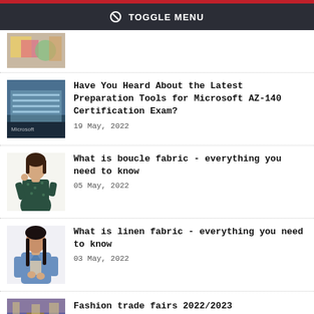TOGGLE MENU
[Figure (photo): Thumbnail image of colorful items, partial view at top]
[Figure (photo): Microsoft building exterior with glass facade]
Have You Heard About the Latest Preparation Tools for Microsoft AZ-140 Certification Exam?
19 May, 2022
[Figure (photo): Woman in dark green patterned shirt]
What is boucle fabric - everything you need to know
05 May, 2022
[Figure (photo): Woman in denim jacket with long dark hair]
What is linen fabric - everything you need to know
03 May, 2022
[Figure (photo): Fashion trade fair exhibition hall]
Fashion trade fairs 2022/2023
02 May, 2022